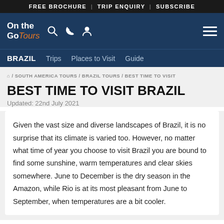FREE BROCHURE | TRIP ENQUIRY | SUBSCRIBE
[Figure (logo): On the Go Tours logo with navigation icons (search, phone, person) and hamburger menu]
BRAZIL   Trips   Places to Visit   Guide
🏠 / SOUTH AMERICA TOURS / BRAZIL TOURS / BEST TIME TO VISIT
BEST TIME TO VISIT BRAZIL
Updated: 22nd July 2021
Given the vast size and diverse landscapes of Brazil, it is no surprise that its climate is varied too. However, no matter what time of year you choose to visit Brazil you are bound to find some sunshine, warm temperatures and clear skies somewhere. June to December is the dry season in the Amazon, while Rio is at its most pleasant from June to September, when temperatures are a bit cooler.